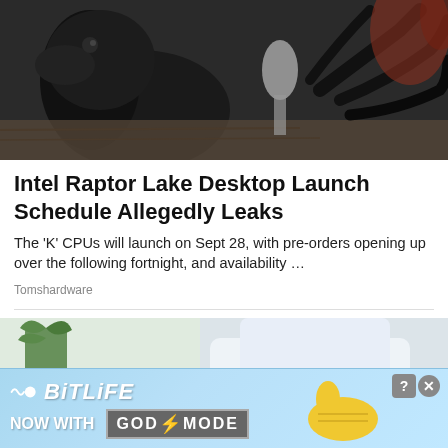[Figure (photo): Dark-colored bird claws/talons and head close-up on a wooden surface, with metal objects visible]
Intel Raptor Lake Desktop Launch Schedule Allegedly Leaks
The ‘K’ CPUs will launch on Sept 28, with pre-orders opening up over the following fortnight, and availability …
Tomshardware
[Figure (photo): Doctor in white lab coat holding a pen next to a dental teeth model, with a keyboard and plant in background]
[Figure (other): BitLife advertisement banner: NOW WITH GOD MODE, with lightning bolt icon and hand pointing graphic]